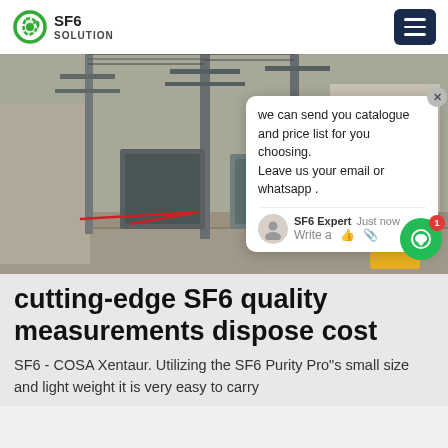SF6 SOLUTION
[Figure (photo): Outdoor electrical substation with steel towers, power transformers and equipment. A chat popup overlay reads: 'we can send you catalogue and price list for you choosing. Leave us your email or whatsapp .' with SF6 Expert Just now, Write a [thumb][paperclip]. A green chat bubble button with notification badge '1' is visible bottom right.]
cutting-edge SF6 quality measurements dispose cost
SF6 - COSA Xentaur. Utilizing the SF6 Purity Pro"s small size and light weight it is very easy to carry